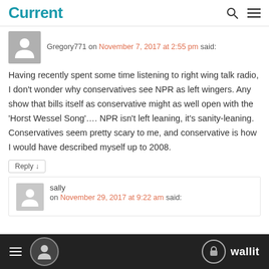Current
Gregory771 on November 7, 2017 at 2:55 pm said:
Having recently spent some time listening to right wing talk radio, I don’t wonder why conservatives see NPR as left wingers. Any show that bills itself as conservative might as well open with the ‘Horst Wessel Song’.... NPR isn’t left leaning, it’s sanity-leaning. Conservatives seem pretty scary to me, and conservative is how I would have described myself up to 2008.
Reply ↓
sally on November 29, 2017 at 9:22 am said:
wallit